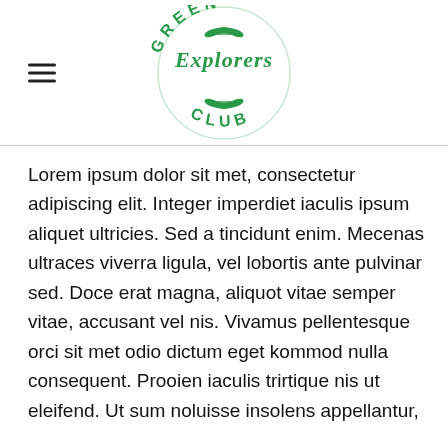[Figure (logo): Green Explorers Club circular logo in green with wheat/fern decorative elements]
Lorem ipsum dolor sit met, consectetur adipiscing elit. Integer imperdiet iaculis ipsum aliquet ultricies. Sed a tincidunt enim. Mecenas ultraces viverra ligula, vel lobortis ante pulvinar sed. Doce erat magna, aliquot vitae semper vitae, accusant vel nis. Vivamus pellentesque orci sit met odio dictum eget kommod nulla consequent. Prooien iaculis trirtique nis ut eleifend. Ut sum noluisse insolens appellantur,